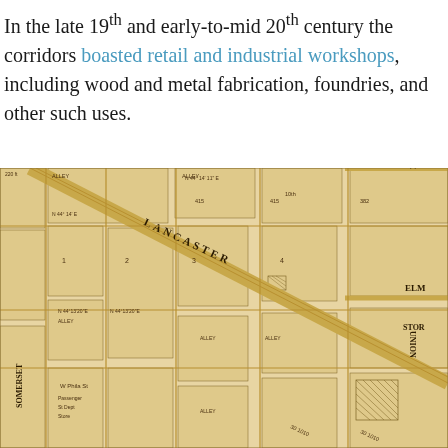In the late 19th and early-to-mid 20th century the corridors boasted retail and industrial workshops, including wood and metal fabrication, foundries, and other such uses.
[Figure (map): Historical cadastral/parcel map showing a grid of city blocks with diagonal Lancaster Avenue cutting across. Streets labeled include GRAPE, ELM, UNION, STOR(E?), SOMERSET. Map has a warm tan/sepia color with lot lines, parcel numbers, and building footprints drawn in brown ink.]